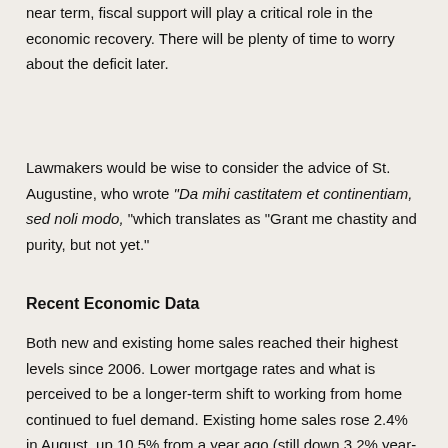near term, fiscal support will play a critical role in the economic recovery. There will be plenty of time to worry about the deficit later.
Lawmakers would be wise to consider the advice of St. Augustine, who wrote "Da mihi castitatem et continentiam, sed noli modo," which translates as "Grant me chastity and purity, but not yet."
Recent Economic Data
Both new and existing home sales reached their highest levels since 2006. Lower mortgage rates and what is perceived to be a longer-term shift to working from home continued to fuel demand. Existing home sales rose 2.4% in August, up 10.5% from a year ago (still down 3.2% year-to-